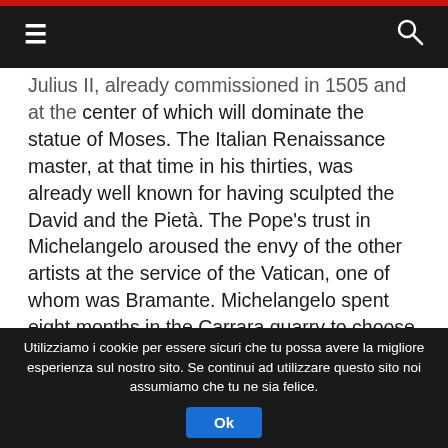[hamburger menu] [search icon]
Julius II, already commissioned in 1505 and at the center of which will dominate the statue of Moses. The Italian Renaissance master, at that time in his thirties, was already well known for having sculpted the David and the Pietà. The Pope's trust in Michelangelo aroused the envy of the other artists at the service of the Vatican, one of whom was Bramante. Michelangelo spent eight months in the Carrara quarry to choose the right blocks to make Julius II's tomb, just as Konchalovsky spent eight months in the archives to brig back to life on the screen Michelangelo more as a man than as an artist.
Utilizziamo i cookie per essere sicuri che tu possa avere la migliore esperienza sul nostro sito. Se continui ad utilizzare questo sito noi assumiamo che tu ne sia felice. Ok